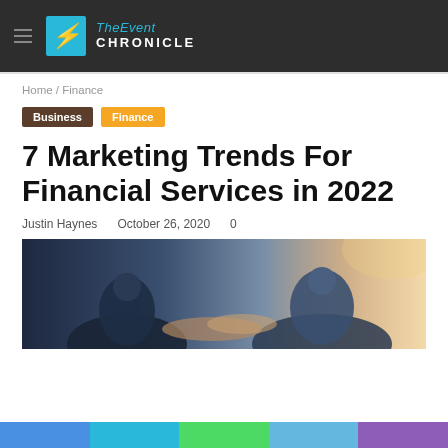TheEvent CHRONICLE
Home / Finance
Business   Finance
7 Marketing Trends For Financial Services in 2022
Justin Haynes   October 26, 2020   0
[Figure (photo): Two businesspeople shaking hands over a desk, business meeting scene with warm backlighting]